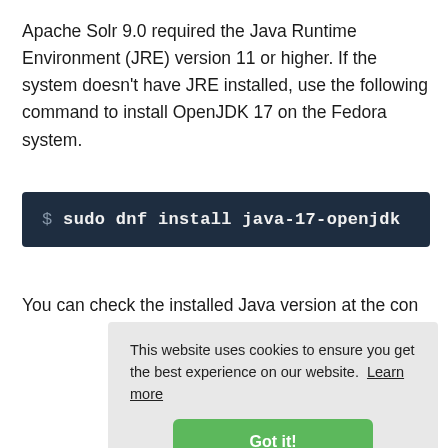Apache Solr 9.0 required the Java Runtime Environment (JRE) version 11 or higher. If the system doesn't have JRE installed, use the following command to install OpenJDK 17 on the Fedora system.
$ sudo dnf install java-17-openjdk
You can check the installed Java version at the con
This website uses cookies to ensure you get the best experience on our website. Learn more

Got it!